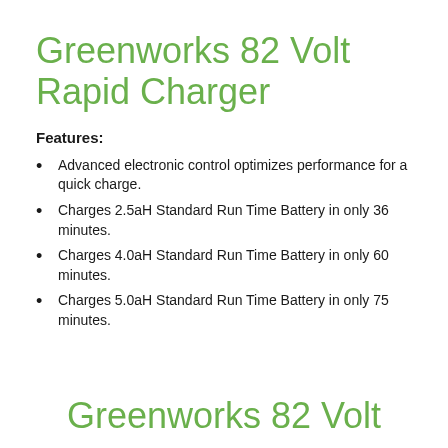Greenworks 82 Volt Rapid Charger
Features:
Advanced electronic control optimizes performance for a quick charge.
Charges 2.5aH Standard Run Time Battery in only 36 minutes.
Charges 4.0aH Standard Run Time Battery in only 60 minutes.
Charges 5.0aH Standard Run Time Battery in only 75 minutes.
Greenworks 82 Volt